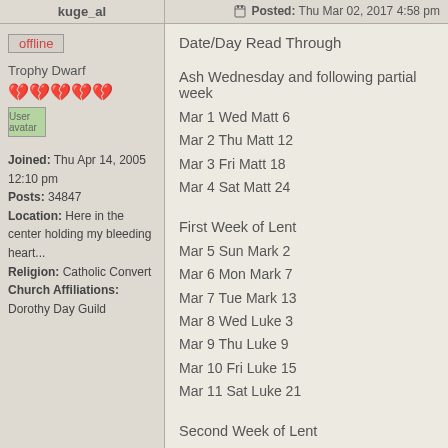kuge_al | Posted: Thu Mar 02, 2017 4:58 pm
offline
Trophy Dwarf
Joined: Thu Apr 14, 2005 12:10 pm
Posts: 34847
Location: Here in the center holding my bleeding heart...
Religion: Catholic Convert
Church Affiliations: Dorothy Day Guild
Date/Day Read Through
Ash Wednesday and following partial week
Mar 1 Wed Matt 6
Mar 2 Thu Matt 12
Mar 3 Fri Matt 18
Mar 4 Sat Matt 24
First Week of Lent
Mar 5 Sun Mark 2
Mar 6 Mon Mark 7
Mar 7 Tue Mark 13
Mar 8 Wed Luke 3
Mar 9 Thu Luke 9
Mar 10 Fri Luke 15
Mar 11 Sat Luke 21
Second Week of Lent
Mar 12 Sun John 3
Mar 13 Mon John 9